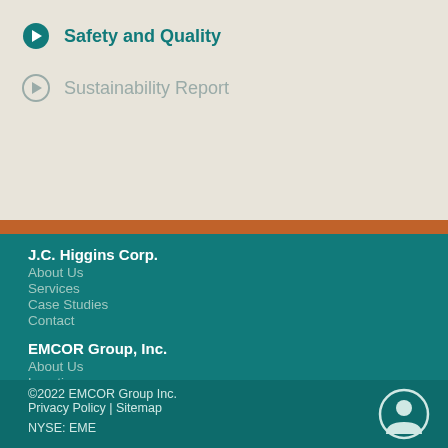Safety and Quality
Sustainability Report
J.C. Higgins Corp.
About Us
Services
Case Studies
Contact
EMCOR Group, Inc.
About Us
Locations
Investor Relations
Sustainability Report
©2022 EMCOR Group Inc.
Privacy Policy | Sitemap
NYSE: EME